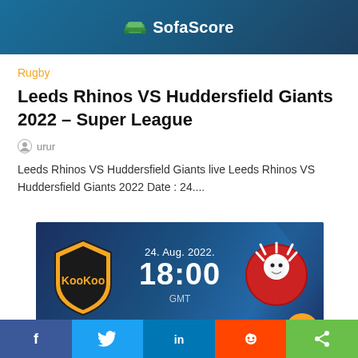SofaScore
Rugby
Leeds Rhinos VS Huddersfield Giants 2022 – Super League
urur
Leeds Rhinos VS Huddersfield Giants live Leeds Rhinos VS Huddersfield Giants 2022 Date : 24....
[Figure (infographic): Match banner showing KooKoo (orange shield logo) vs a red lion team, date 24. Aug. 2022. 18:00 GMT on a dark blue background with an orange circle element]
f  Twitter  in  Reddit  Share